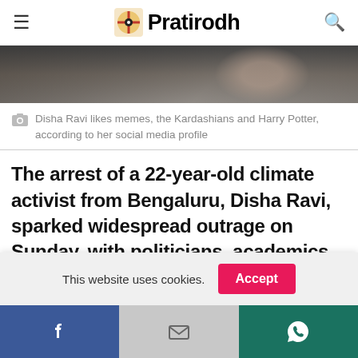Pratirodh
[Figure (photo): Close-up photo of a person with dark hair, partially cropped, dark background]
Disha Ravi likes memes, the Kardashians and Harry Potter, according to her social media profile
The arrest of a 22-year-old climate activist from Bengaluru, Disha Ravi, sparked widespread outrage on Sunday, with politicians, academics, activists, authors and poets among those condemning the police action over a guide to the anti-government
This website uses cookies.
Facebook | Gmail | WhatsApp